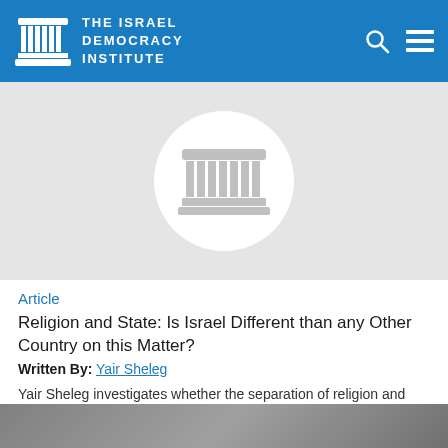THE ISRAEL DEMOCRACY INSTITUTE
[Figure (logo): Placeholder image with Israel Democracy Institute logo icon in a white circle on light gray background]
Article
Religion and State: Is Israel Different than any Other Country on this Matter?
Written By: Yair Sheleg
Yair Sheleg investigates whether the separation of religion and state manifests itself differently in Israel than it does in other countries.
[Figure (photo): Partial photo visible at bottom of page, dark tones]